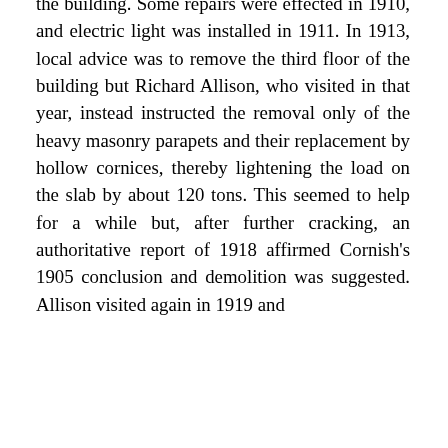the building. Some repairs were effected in 1910, and electric light was installed in 1911. In 1913, local advice was to remove the third floor of the building but Richard Allison, who visited in that year, instead instructed the removal only of the heavy masonry parapets and their replacement by hollow cornices, thereby lightening the load on the slab by about 120 tons. This seemed to help for a while but, after further cracking, an authoritative report of 1918 affirmed Cornish's 1905 conclusion and demolition was suggested. Allison visited again in 1919 and